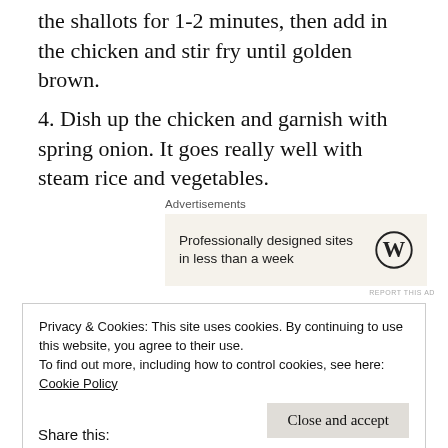the shallots for 1-2 minutes, then add in the chicken and stir fry until golden brown.
4. Dish up the chicken and garnish with spring onion. It goes really well with steam rice and vegetables.
[Figure (other): Advertisement banner: WordPress logo with text 'Professionally designed sites in less than a week']
Privacy & Cookies: This site uses cookies. By continuing to use this website, you agree to their use.
To find out more, including how to control cookies, see here: Cookie Policy
Close and accept
Share this: